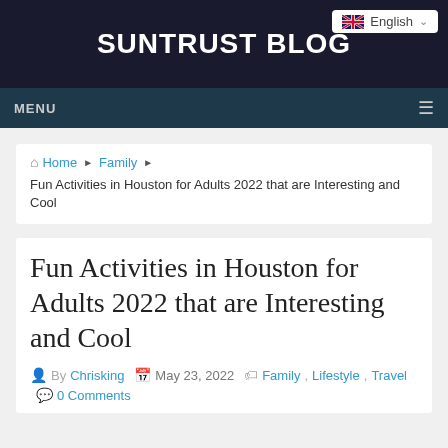SUNTRUST BLOG
English
MENU
Home ▶ Family ▶ Fun Activities in Houston for Adults 2022 that are Interesting and Cool
Fun Activities in Houston for Adults 2022 that are Interesting and Cool
By Chrisking  May 23, 2022  Family, Lifestyle, Travel  0 Comments